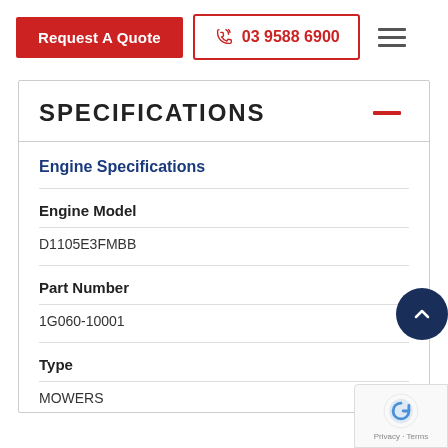Request A Quote | 03 9588 6900
SPECIFICATIONS
Engine Specifications
Engine Model
D1105E3FMBB
Part Number
1G060-10001
Type
MOWERS